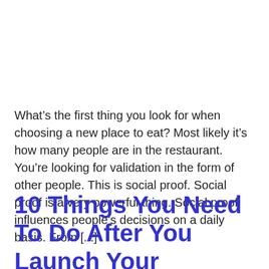What's the first thing you look for when choosing a new place to eat? Most likely it's how many people are in the restaurant. You're looking for validation in the form of other people. This is social proof. Social proof is a very powerful thing. Social proof influences people's decisions on a daily basis. From [...]
10 Things You Need To Do After You Launch Your Website